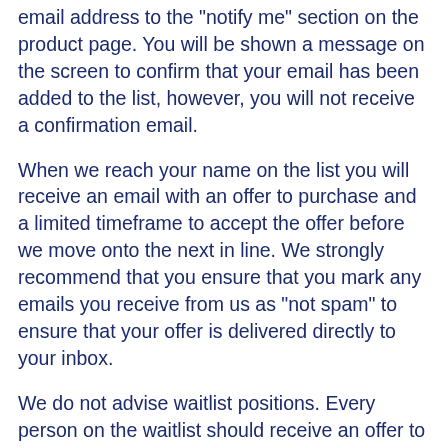email address to the "notify me" section on the product page. You will be shown a message on the screen to confirm that your email has been added to the list, however, you will not receive a confirmation email.
When we reach your name on the list you will receive an email with an offer to purchase and a limited timeframe to accept the offer before we move onto the next in line. We strongly recommend that you ensure that you mark any emails you receive from us as "not spam" to ensure that your offer is delivered directly to your inbox.
We do not advise waitlist positions. Every person on the waitlist should receive an offer to purchase at some point in time as we work through the list in the order that the emails were recorded. Waitlist offer times are currently between 3-12 months, but we cannot guarantee any specific time period.